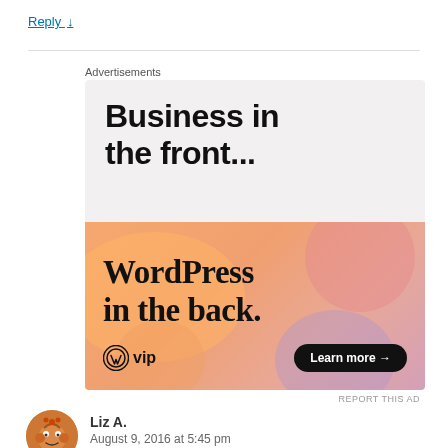Reply ↓
[Figure (infographic): WordPress VIP advertisement banner: top half shows 'Business in the front...' on light grey background; bottom half shows 'WordPress in the back.' on a colorful gradient background with blobs, WP VIP logo and a 'Learn more →' button.]
Advertisements
REPORT THIS AD
Liz A.
August 9, 2016 at 5:45 pm